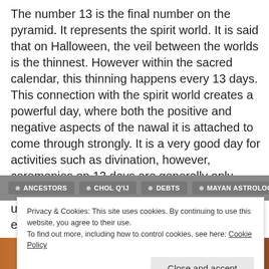The number 13 is the final number on the pyramid. It represents the spirit world. It is said that on Halloween, the veil between the worlds is the thinnest. However within the sacred calendar, this thinning happens every 13 days. This connection with the spirit world creates a powerful day, where both the positive and negative aspects of the nawal it is attached to come through strongly. It is a very good day for activities such as divination, however, ceremonies on 13 days are generally only carried out by the most experienced Aj Q'ij who understand how to work with that strength of energy.
• ANCESTORS
• CHOL Q'IJ
• DEBTS
• MAYAN ASTROLOGY
Privacy & Cookies: This site uses cookies. By continuing to use this website, you agree to their use.
To find out more, including how to control cookies, see here: Cookie Policy
Close and accept
[Figure (photo): Colorful photo strip at bottom of page showing warm orange and brown tones]